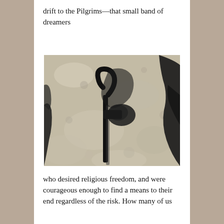drift to the Pilgrims—that small band of dreamers
[Figure (photo): Close-up photograph of a stone surface with a black shadow or carving depicting a shepherd figure holding a staff with a hooked top, with another dark shadow or figure visible on the right edge.]
who desired religious freedom, and were courageous enough to find a means to their end regardless of the risk. How many of us